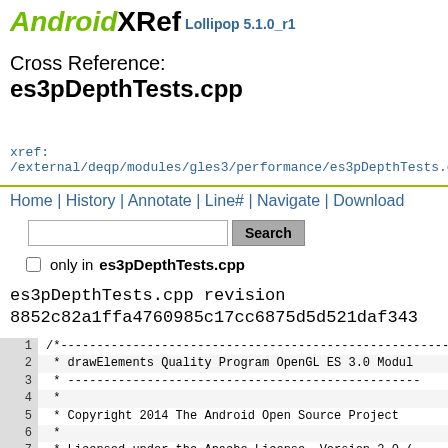AndroidXRef Lollipop 5.1.0_r1
Cross Reference: es3pDepthTests.cpp
xref: /external/deqp/modules/gles3/performance/es3pDepthTests.c
Home | History | Annotate | Line# | Navigate | Download
only in es3pDepthTests.cpp
es3pDepthTests.cpp revision 8852c82a1ffa4760985c17cc6875d5d521daf343
1  /*---
2   * drawElements Quality Program OpenGL ES 3.0 Modul
3   * ---
4   *
5   * Copyright 2014 The Android Open Source Project
6   *
7   * Licensed under the Apache License, Version 2.0 (
8   * you may not use this file except in compliance w
9   * You may obtain a copy of the License at
10  *
11  *     http://www.apache.org/licenses/LICENSE-2.0
12  *
13  * Unless required by applicable law or agreed to in